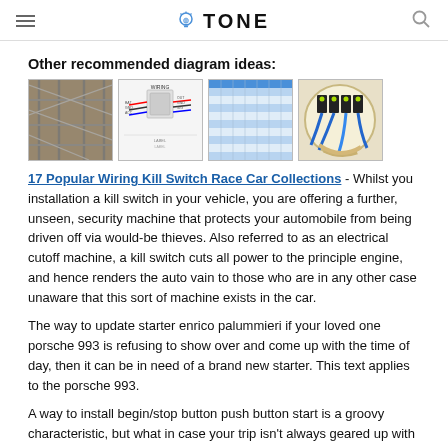TONE
Other recommended diagram ideas:
[Figure (photo): Four thumbnail images showing wiring diagrams and related photos: construction scaffolding wires, a wiring schematic, a table/chart with colored data, and a wiring terminal block with blue wires.]
17 Popular Wiring Kill Switch Race Car Collections - Whilst you installation a kill switch in your vehicle, you are offering a further, unseen, security machine that protects your automobile from being driven off via would-be thieves. Also referred to as an electrical cutoff machine, a kill switch cuts all power to the principle engine, and hence renders the auto vain to those who are in any other case unaware that this sort of machine exists in the car.
The way to update starter enrico palummieri if your loved one porsche 993 is refusing to show over and come up with the time of day, then it can be in need of a brand new starter. This text applies to the porsche 993.
A way to install begin/stop button push button start is a groovy characteristic, but what in case your trip isn't always geared up with